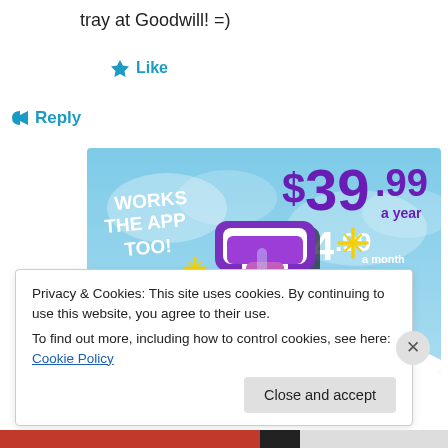tray at Goodwill! =)
★ Like
↪ Reply
[Figure (illustration): Advertisement for Tumblr showing the Tumblr 't' logo in purple/pink/white with sparkles on a blue sky background. Text reads: WORKS THE APP TOO! $39.99 a year or $4.99 a month + FREE SHIPPING]
Privacy & Cookies: This site uses cookies. By continuing to use this website, you agree to their use.
To find out more, including how to control cookies, see here: Cookie Policy
Close and accept